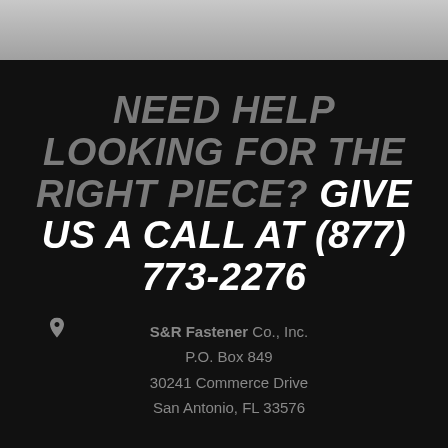[Figure (illustration): Gray gradient banner at top of page]
NEED HELP LOOKING FOR THE RIGHT PIECE? GIVE US A CALL AT (877) 773-2276
S&R Fastener Co., Inc. P.O. Box 849 30241 Commerce Drive San Antonio, FL 33576
SHOP BY MANUFACTURER
Ford
GM